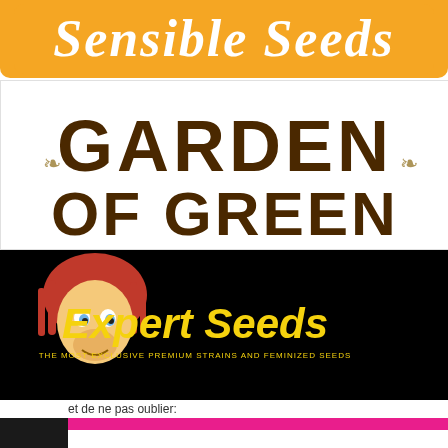[Figure (logo): Sensible Seeds logo - orange rounded banner with white cursive script text]
[Figure (logo): Garden of Green logo - white background with large dark brown stencil/block letters and decorative leaf motifs]
[Figure (logo): Expert Seeds logo - black background with cartoon lion mascot on left and yellow Expert Seeds text on right]
et de ne pas oublier:
[Figure (logo): Linda Seeds logo - partial view showing black sidebar with white vertical text 'Blimburn' and large black sans-serif text 'linda-' on white background with pink border]